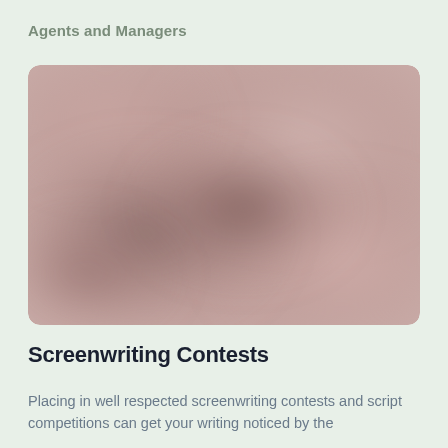Agents and Managers
[Figure (photo): A blurred, abstract photo with dusty rose/mauve tones and soft dark patches, likely a blurred photograph of a person or object in a warm indoor setting.]
Screenwriting Contests
Placing in well respected screenwriting contests and script competitions can get your writing noticed by the